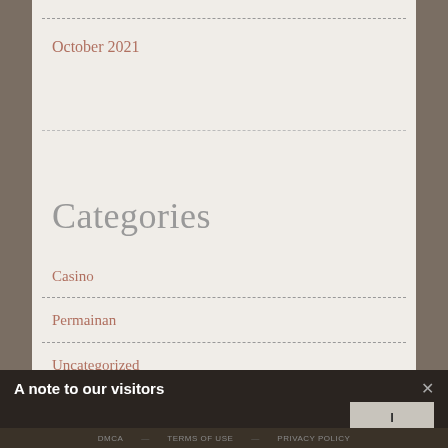October 2021
Categories
Casino
Permainan
Uncategorized
A note to our visitors
DMCA  —  TERMS OF USE  —  PRIVACY POLICY